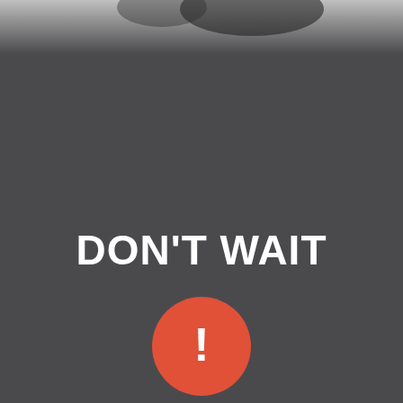[Figure (photo): Dark grey background page with blurred black and white photo at the top portion, fading into dark grey]
DON'T WAIT
[Figure (infographic): Orange/red circle with white exclamation mark inside, centered below the headline text]